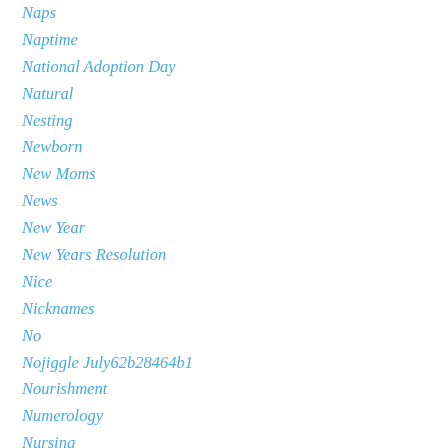Naps
Naptime
National Adoption Day
Natural
Nesting
Newborn
New Moms
News
New Year
New Years Resolution
Nice
Nicknames
No
Nojiggle July62b28464b1
Nourishment
Numerology
Nursing
Nursing Boobs
Nutrition
Occupy Baby
Ocd